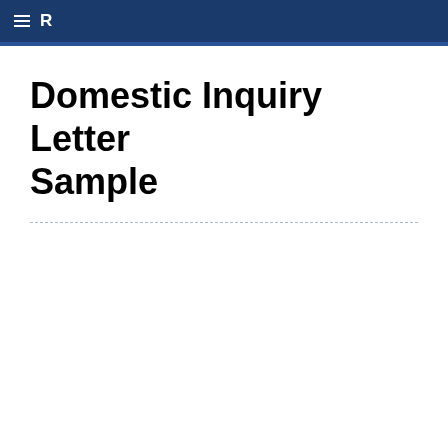≡ R
Domestic Inquiry Letter Sample